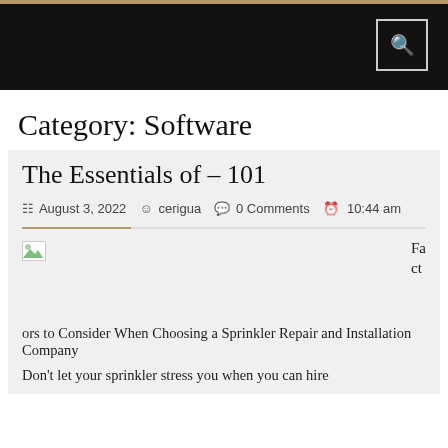Category: Software
The Essentials of – 101
August 3, 2022   cerigua   0 Comments   10:44 am
[Figure (illustration): Broken/placeholder image thumbnail]
Factors to Consider When Choosing a Sprinkler Repair and Installation Company
Don't let your sprinkler stress you when you can hire